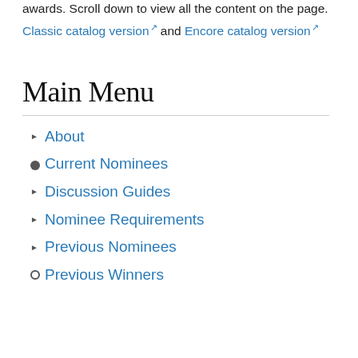awards.  Scroll down to view all the content on the page.
Classic catalog version and Encore catalog version
Main Menu
About
Current Nominees
Discussion Guides
Nominee Requirements
Previous Nominees
Previous Winners